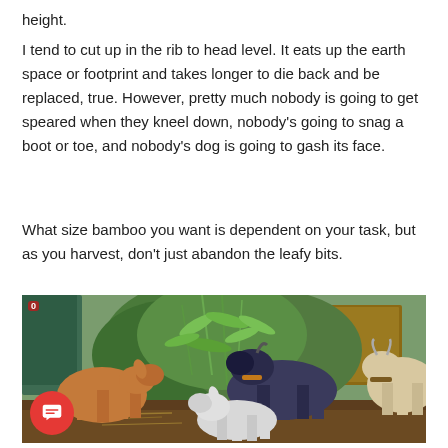height.
I tend to cut up in the rib to head level. It eats up the earth space or footprint and takes longer to die back and be replaced, true. However, pretty much nobody is going to get speared when they kneel down, nobody’s going to snag a boot or toe, and nobody’s dog is going to gash its face.
What size bamboo you want is dependent on your task, but as you harvest, don’t just abandon the leafy bits.
[Figure (photo): Three goats eating leafy bamboo branches in a garden setting with wooden structures in the background.]